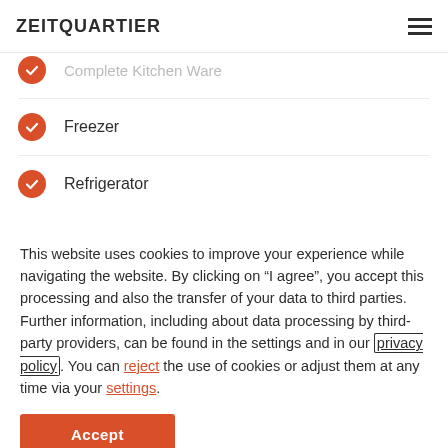ZEITQUARTIER
Complete Kitchen Ware
Freezer
Refrigerator
This website uses cookies to improve your experience while navigating the website. By clicking on “I agree”, you accept this processing and also the transfer of your data to third parties. Further information, including about data processing by third-party providers, can be found in the settings and in our privacy policy. You can reject the use of cookies or adjust them at any time via your settings.
Accept